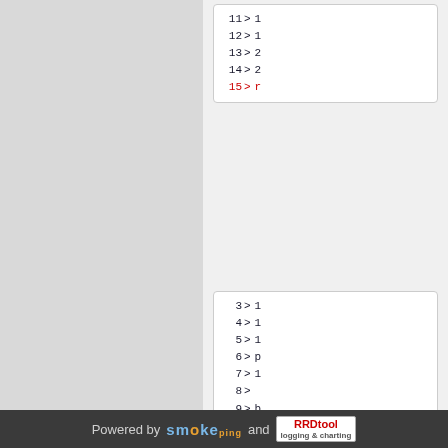[Figure (screenshot): Left gray area of a web page screenshot]
Code box 1: lines 11-15 with line 15 in red. Lines: 11 > [content], 12 > [content], 13 > [content], 14 > [content], 15 > [content in red]
Code box 2: lines 3-15 with line 15 in red. Lines: 3 > 1, 4 > 1, 5 > 1, 6 > p, 7 > 1, 8 > [content], 9 > b, 10 > b, 11 > b, 12 > 1, 13 > 2, 14 > 2, 15 > r [red]
Powered by smokeping and RRDtool